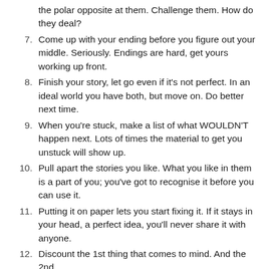What is your character good at, comfortable with? Throw the polar opposite at them. Challenge them. How do they deal?
7. Come up with your ending before you figure out your middle. Seriously. Endings are hard, get yours working up front.
8. Finish your story, let go even if it's not perfect. In an ideal world you have both, but move on. Do better next time.
9. When you're stuck, make a list of what WOULDN'T happen next. Lots of times the material to get you unstuck will show up.
10. Pull apart the stories you like. What you like in them is a part of you; you've got to recognise it before you can use it.
11. Putting it on paper lets you start fixing it. If it stays in your head, a perfect idea, you'll never share it with anyone.
12. Discount the 1st thing that comes to mind. And the 2nd,